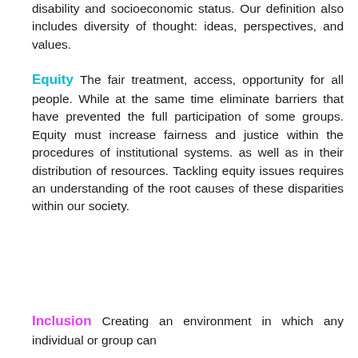disability and socioeconomic status. Our definition also includes diversity of thought: ideas, perspectives, and values.
Equity The fair treatment, access, opportunity for all people. While at the same time eliminate barriers that have prevented the full participation of some groups. Equity must increase fairness and justice within the procedures of institutional systems. as well as in their distribution of resources. Tackling equity issues requires an understanding of the root causes of these disparities within our society.
Inclusion Creating an environment in which any individual or group can